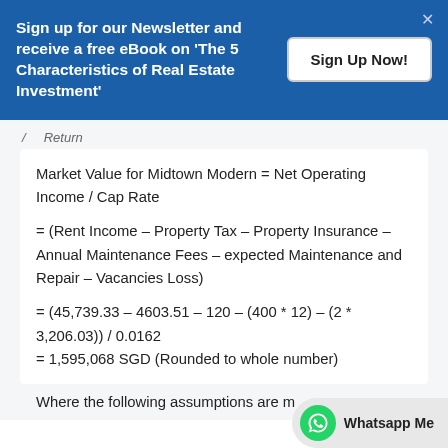Sign up for our Newsletter and receive a free eBook on 'The 5 Characteristics of Real Estate Investment'
Sign Up Now!
Property Return (partial, cut off)
Where the following assumptions are m...